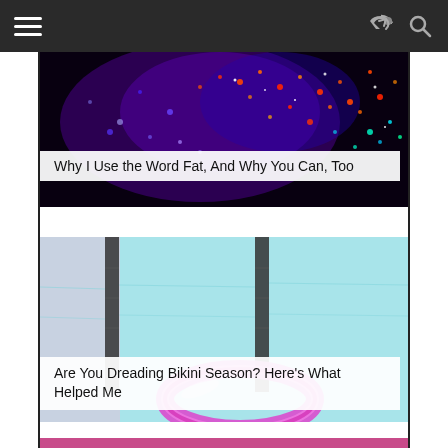Navigation bar with hamburger menu, share icon, and search icon
[Figure (photo): Dark background with colorful neon glitter/bokeh lights in blue, orange, red, green colors]
Why I Use the Word Fat, And Why You Can, Too
[Figure (photo): Aerial view of a swimming pool with teal/cyan water, dark lane dividers, and a pink inflatable ring float]
Are You Dreading Bikini Season? Here’s What Helped Me